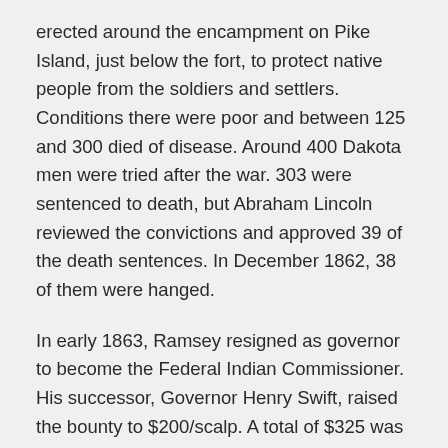erected around the encampment on Pike Island, just below the fort, to protect native people from the soldiers and settlers. Conditions there were poor and between 125 and 300 died of disease. Around 400 Dakota men were tried after the war. 303 were sentenced to death, but Abraham Lincoln reviewed the convictions and approved 39 of the death sentences. In December 1862, 38 of them were hanged.
In early 1863, Ramsey resigned as governor to become the Federal Indian Commissioner. His successor, Governor Henry Swift, raised the bounty to $200/scalp. A total of $325 was paid out to four people collecting bounties, including for Little Crow who was killed in July 1863. Upon becoming Indian Commissioner, Ramsey set out to get Ojibwe lands too. In 1863 he negotiated the Treaty of Old Crossing, whereby the